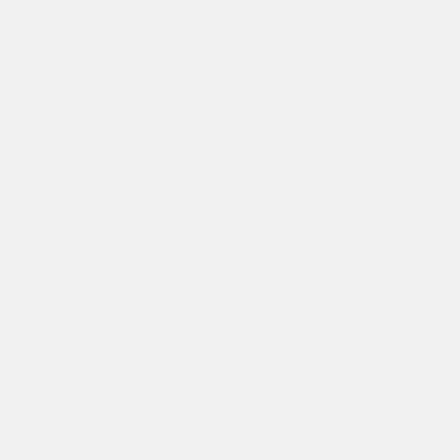Downloads
Sol 1922: Mars Hand Lens Imager (MAHLI)
image/jpeg
DOWNLOAD
Embed
Embed this resource by pasting the following code into your website:
<iframe src="https://mars.nasa.gov/raw_images/embed/471581" width="400" height="400"